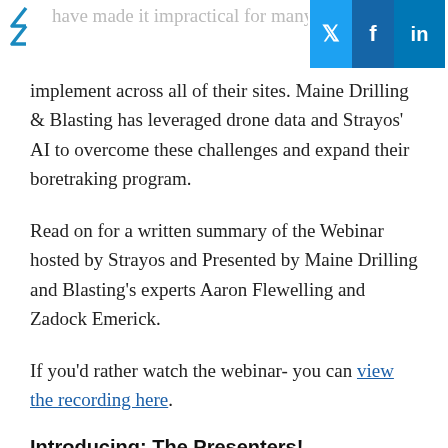Social share buttons: Twitter, Facebook, LinkedIn
have made it impractical for many companies to implement across all of their sites. Maine Drilling & Blasting has leveraged drone data and Strayos' AI to overcome these challenges and expand their boretraking program.
Read on for a written summary of the Webinar hosted by Strayos and Presented by Maine Drilling and Blasting's experts Aaron Flewelling and Zadock Emerick.
If you'd rather watch the webinar- you can view the recording here.
Introducing: The Presenters!